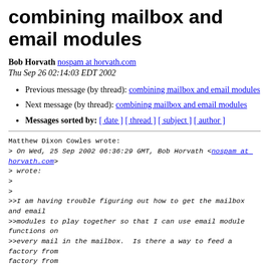combining mailbox and email modules
Bob Horvath nospam at horvath.com
Thu Sep 26 02:14:03 EDT 2002
Previous message (by thread): combining mailbox and email modules
Next message (by thread): combining mailbox and email modules
Messages sorted by: [ date ] [ thread ] [ subject ] [ author ]
Matthew Dixon Cowles wrote:
> On Wed, 25 Sep 2002 06:36:29 GMT, Bob Horvath <nospam at horvath.com>
> wrote:
>
>
>>I am having trouble figuring out how to get the mailbox and email
>>modules to play together so that I can use email module functions on
>>every mail in the mailbox.  Is there a way to feed a factory from...